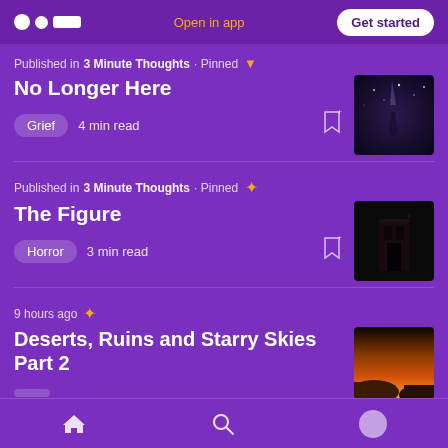Open in app | Get started
Published in 3 Minute Thoughts · Pinned
No Longer Here
Grief  4 min read
Published in 3 Minute Thoughts · Pinned
The Figure
Horror  3 min read
9 hours ago
Deserts, Ruins and Starry Skies Part 2
Home  Search  Profile